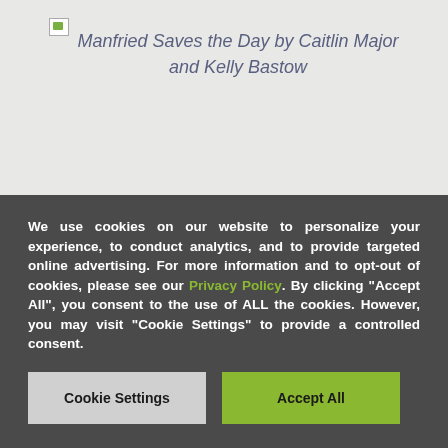[Figure (other): Book cover image placeholder with broken image icon for 'Manfried Saves the Day by Caitlin Major and Kelly Bastow']
Manfried Saves the Day by Caitlin Major and Kelly Bastow
We use cookies on our website to personalize your experience, to conduct analytics, and to provide targeted online advertising. For more information and to opt-out of cookies, please see our Privacy Policy. By clicking "Accept All", you consent to the use of ALL the cookies. However, you may visit "Cookie Settings" to provide a controlled consent.